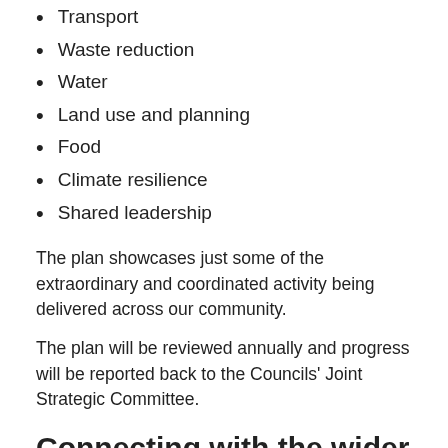Transport
Waste reduction
Water
Land use and planning
Food
Climate resilience
Shared leadership
The plan showcases just some of the extraordinary and coordinated activity being delivered across our community.
The plan will be reviewed annually and progress will be reported back to the Councils' Joint Strategic Committee.
Connecting with the wider community